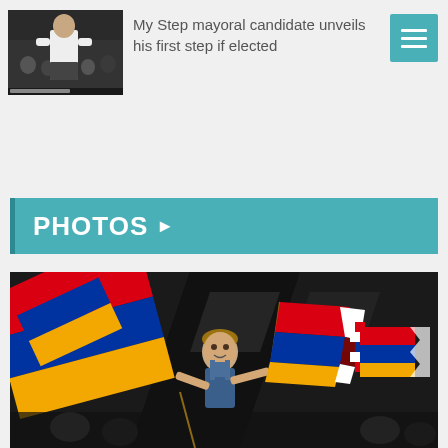[Figure (photo): News thumbnail photo showing a man in a white t-shirt at what appears to be a press conference or public event with crowd in background]
My Step mayoral candidate unveils his first step if elected
[Figure (other): Hamburger menu button icon (three horizontal lines) on teal background]
PHOTOS ▶
[Figure (photo): A small child in denim overalls holding Armenian and Artsakh flags at what appears to be a political rally or event, with large flags and dark background]